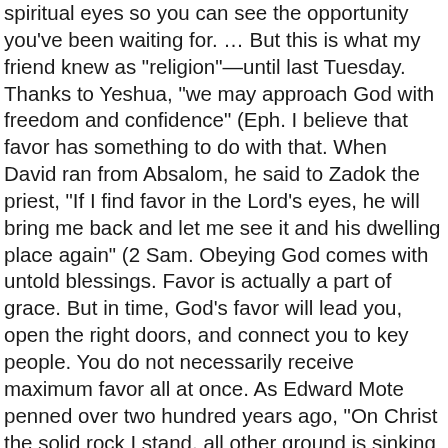spiritual eyes so you can see the opportunity you've been waiting for. … But this is what my friend knew as "religion"—until last Tuesday. Thanks to Yeshua, "we may approach God with freedom and confidence" (Eph. I believe that favor has something to do with that. When David ran from Absalom, he said to Zadok the priest, "If I find favor in the Lord's eyes, he will bring me back and let me see it and his dwelling place again" (2 Sam. Obeying God comes with untold blessings. Favor is actually a part of grace. But in time, God's favor will lead you, open the right doors, and connect you to key people. You do not necessarily receive maximum favor all at once. As Edward Mote penned over two hundred years ago, “On Christ the solid rock I stand, all other ground is sinking sand.” Do you support GOD TV? In Unlocking, God's Power, Favor and Blessings, twenty-six books of the New Testament are arranged into prayer forms, which give you the ability to read and pray the Word of God. Favor is an attitude of goodness toward you. The Favour of God. 67:1-2). There is no fear in His presence. “Surely, Lord, you bless the righteous; you surround them with your favor as with a shield” (Ps. 5:12). You can